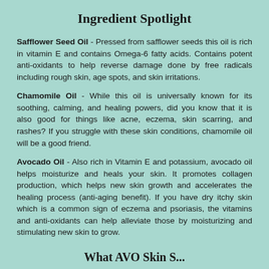Ingredient Spotlight
Safflower Seed Oil - Pressed from safflower seeds this oil is rich in vitamin E and contains Omega-6 fatty acids. Contains potent anti-oxidants to help reverse damage done by free radicals including rough skin, age spots, and skin irritations.
Chamomile Oil - While this oil is universally known for its soothing, calming, and healing powers, did you know that it is also good for things like acne, eczema, skin scarring, and rashes? If you struggle with these skin conditions, chamomile oil will be a good friend.
Avocado Oil - Also rich in Vitamin E and potassium, avocado oil helps moisturize and heals your skin. It promotes collagen production, which helps new skin growth and accelerates the healing process (anti-aging benefit). If you have dry itchy skin which is a common sign of eczema and psoriasis, the vitamins and anti-oxidants can help alleviate those by moisturizing and stimulating new skin to grow.
What AVO Skin S...